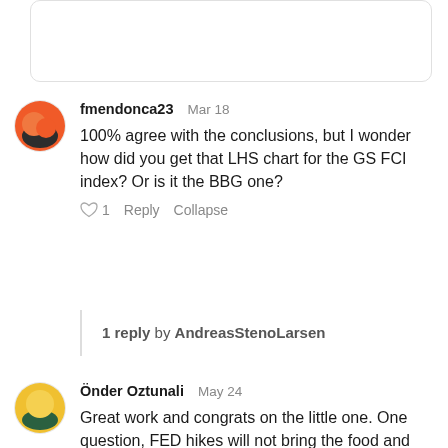[Figure (other): Top portion of a truncated comment card, mostly blank white area with rounded border]
fmendonca23   Mar 18
100% agree with the conclusions, but I wonder how did you get that LHS chart for the GS FCI index? Or is it the BBG one?
♡ 1   Reply   Collapse
1 reply by AndreasStenoLarsen
Önder Oztunali   May 24
Great work and congrats on the little one. One question, FED hikes will not bring the food and energy prices down effectively. As a result, the FED needs to slow or stop tightening earlier than a major reduction inflation. So the real yields will stay negative and at the top of that if the growth you mentioned starts rolling in